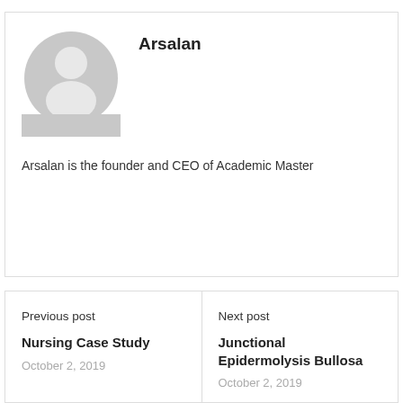[Figure (illustration): Generic user avatar placeholder — grey circle with silhouette of a person (head and shoulders), on white background]
Arsalan
Arsalan is the founder and CEO of Academic Master
Previous post
Nursing Case Study
October 2, 2019
Next post
Junctional Epidermolysis Bullosa
October 2, 2019